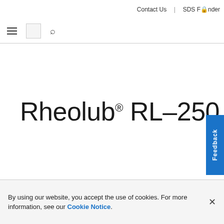Contact Us | SDS Finder
Rheolub® RL-250
By using our website, you accept the use of cookies. For more information, see our Cookie Notice.